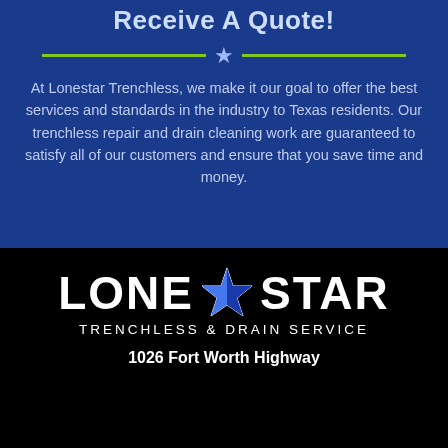Receive A Quote!
At Lonestar Trenchless, we make it our goal to offer the best services and standards in the industry to Texas residents. Our trenchless repair and drain cleaning work are guaranteed to satisfy all of our customers and ensure that you save time and money.
[Figure (logo): Lone Star Trenchless & Drain Service logo with blue star in the middle, large white bold text LONE STAR above and TRENCHLESS & DRAIN SERVICE below]
1026 Fort Worth Highway